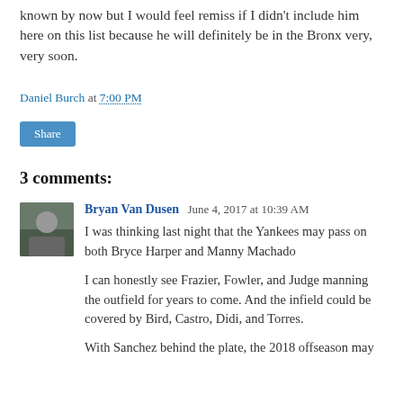known by now but I would feel remiss if I didn't include him here on this list because he will definitely be in the Bronx very, very soon.
Daniel Burch at 7:00 PM
Share
3 comments:
Bryan Van Dusen June 4, 2017 at 10:39 AM
I was thinking last night that the Yankees may pass on both Bryce Harper and Manny Machado

I can honestly see Frazier, Fowler, and Judge manning the outfield for years to come. And the infield could be covered by Bird, Castro, Didi, and Torres.

With Sanchez behind the plate, the 2018 offseason may